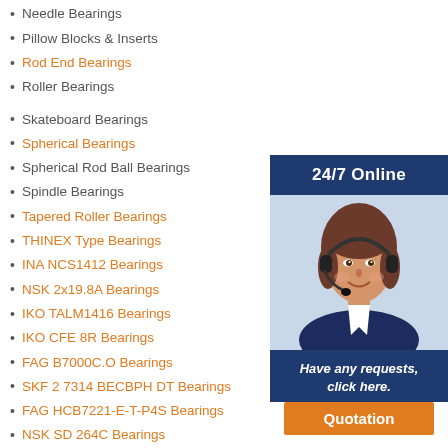Needle Bearings
Pillow Blocks & Inserts
Rod End Bearings
Roller Bearings
Skateboard Bearings
Spherical Bearings
Spherical Rod Ball Bearings
Spindle Bearings
Tapered Roller Bearings
THINEX Type Bearings
INA NCS1412 Bearings
NSK 2x19.8A Bearings
IKO TALM1416 Bearings
IKO CFE 8R Bearings
FAG B7000C.O Bearings
SKF 2 7314 BECBPH DT Bearings
FAG HCB7221-E-T-P4S Bearings
NSK SD 264C Bearings
INA GIR45-DO-2RS Bearings
INA PCSLT25 Bearings
[Figure (photo): Woman with headset smiling, customer service representative, with 24/7 Online panel, Have any requests click here text, and Quotation button]